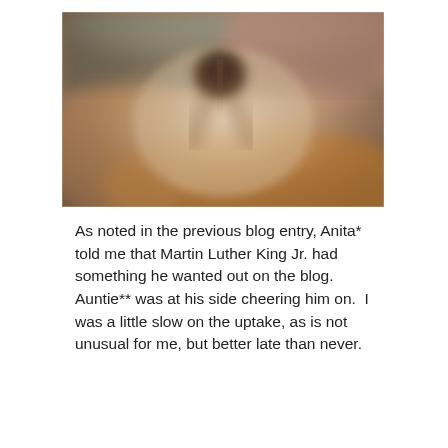[Figure (photo): A blurry, out-of-focus photograph with warm earth tones — browns, taupes, and muted orange-gold hues. A dark circular blurred shape is visible near the center-top of the image. The overall image is heavily blurred and abstract.]
As noted in the previous blog entry, Anita* told me that Martin Luther King Jr. had something he wanted out on the blog.  Auntie** was at his side cheering him on.  I was a little slow on the uptake, as is not unusual for me, but better late than never.